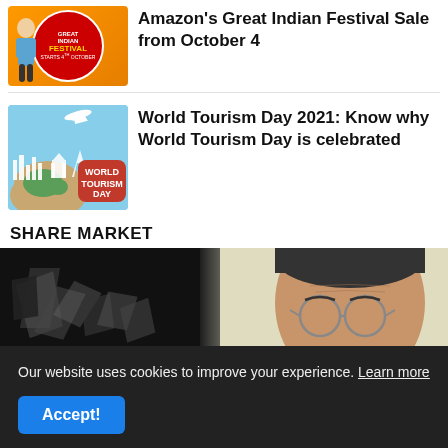[Figure (photo): Amazon Great Indian Festival Sale promotional banner thumbnail with orange background and red circular badge]
Amazon's Great Indian Festival Sale from October 4
[Figure (photo): World Tourism Day 2021 thumbnail with blue sky background showing globe and city silhouettes with red World Tourism Day badge]
World Tourism Day 2021: Know why World Tourism Day is celebrated
SHARE MARKET
[Figure (photo): Share market article image showing broken chart fragments and a man with glasses]
Our website uses cookies to improve your experience. Learn more
Accept!